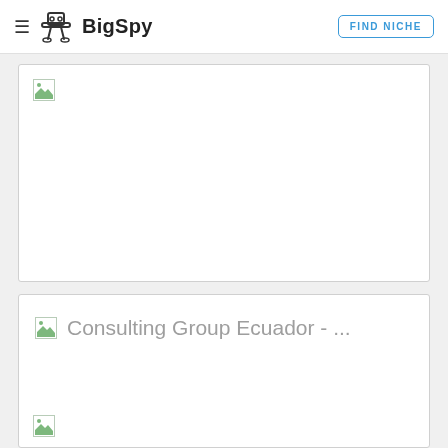BigSpy — FIND NICHE
[Figure (screenshot): White card with a broken image placeholder icon in the top-left corner and a large empty white area below it.]
Consulting Group Ecuador - ...